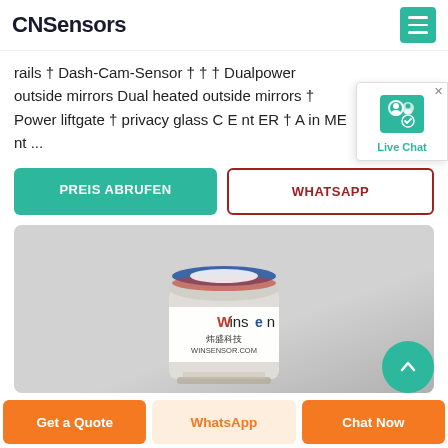CNSensors
rails † Dash-Cam-Sensor † † † Dualpower outside mirrors Dual heated outside mirrors † Power liftgate † privacy glass C E nt ER † A in ME nt ...
PREIS ABRUFEN | WHATSAPP
[Figure (photo): Photo of a Winsen (炜盛科技, WINSENSOR.COM) cylindrical gas sensor on a gray background]
Get a Quote | WhatsApp | Chat Now